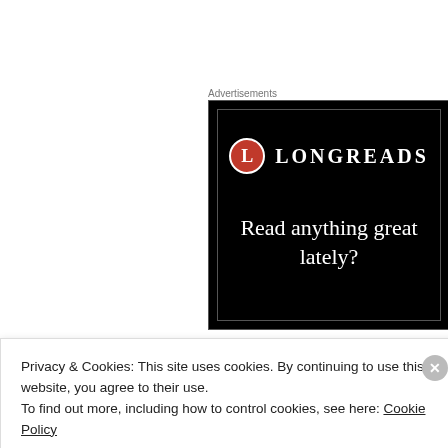Advertisements
[Figure (other): Longreads advertisement banner on black background with red circle L logo and text 'Read anything great lately?']
Gerry Grimes says:
Privacy & Cookies: This site uses cookies. By continuing to use this website, you agree to their use.
To find out more, including how to control cookies, see here: Cookie Policy
Close and accept